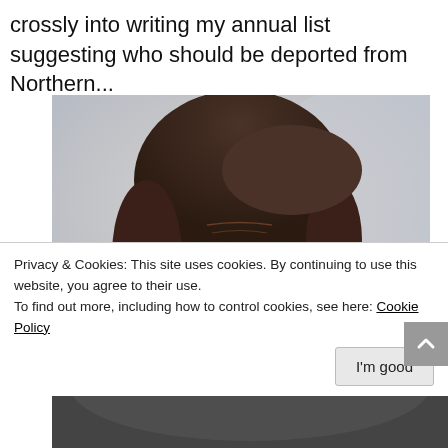crossly into writing my annual list suggesting who should be deported from Northern...
[Figure (photo): Close-up portrait photo of a woman with dark brown hair, wearing earrings, with expressive face and pink/red lipstick, against a light gray background]
Privacy & Cookies: This site uses cookies. By continuing to use this website, you agree to their use.
To find out more, including how to control cookies, see here: Cookie Policy
I'm good